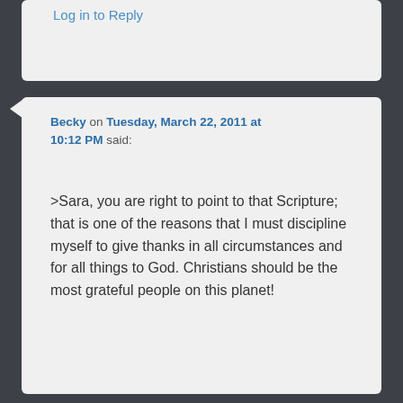Log in to Reply
Becky on Tuesday, March 22, 2011 at 10:12 PM said:
>Sara, you are right to point to that Scripture; that is one of the reasons that I must discipline myself to give thanks in all circumstances and for all things to God. Christians should be the most grateful people on this planet!